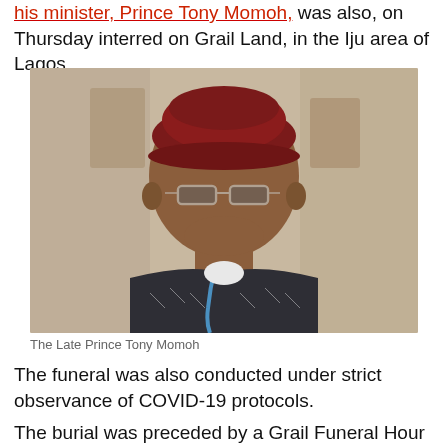his minister, Prince Tony Momoh, was also, on Thursday interred on Grail Land, in the Iju area of Lagos.
[Figure (photo): Portrait photo of The Late Prince Tony Momoh, an older man wearing a dark red/maroon cap and glasses, dressed in a patterned shirt with a blue lanyard, smiling at the camera.]
The Late Prince Tony Momoh
The funeral was also conducted under strict observance of COVID-19 protocols.
The burial was preceded by a Grail Funeral Hour of